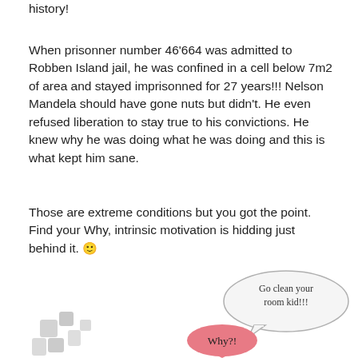history!
When prisonner number 46'664 was admitted to Robben Island jail, he was confined in a cell below 7m2 of area and stayed imprisonned for 27 years!!! Nelson Mandela should have gone nuts but didn't. He even refused liberation to stay true to his convictions. He knew why he was doing what he was doing and this is what kept him sane.
Those are extreme conditions but you got the point. Find your Why, intrinsic motivation is hidding just behind it. 🙂
[Figure (illustration): A speech bubble from an adult figure saying 'Go clean your room kid!!!' and a child's speech bubble saying 'Why?!' with a partial illustration of figures at the bottom of the page.]